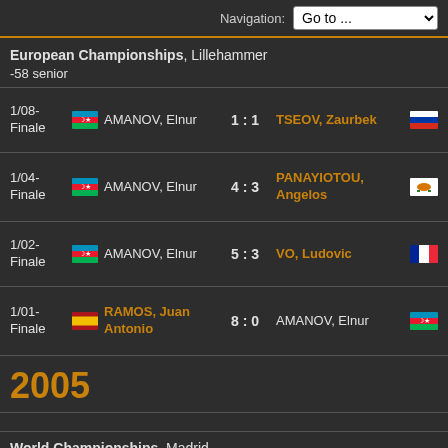Navigation: Go to ...
European Championships, Lillehammer -58 senior
| Round | Flag | Player Left | Score | Player Right | Flag |
| --- | --- | --- | --- | --- | --- |
| 1/08-Finale | AZE | AMANOV, Elnur | 1 : 1 | TSEOV, Zaurbek | RUS |
| 1/04-Finale | AZE | AMANOV, Elnur | 4 : 3 | PANAYIOTOU, Angelos | CYP |
| 1/02-Finale | AZE | AMANOV, Elnur | 5 : 3 | VO, Ludovic | FRA |
| 1/01-Finale | ESP | RAMOS, Juan Antonio | 8 : 0 | AMANOV, Elnur | AZE |
2005
World Championships, Madrid